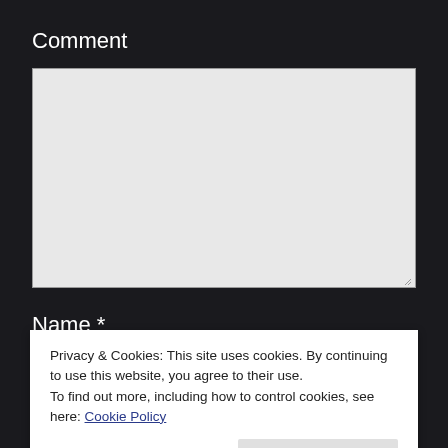Comment
[Figure (screenshot): Empty textarea input box for comment entry with resize handle in bottom-right corner]
Name *
Privacy & Cookies: This site uses cookies. By continuing to use this website, you agree to their use.
To find out more, including how to control cookies, see here: Cookie Policy
Close and accept